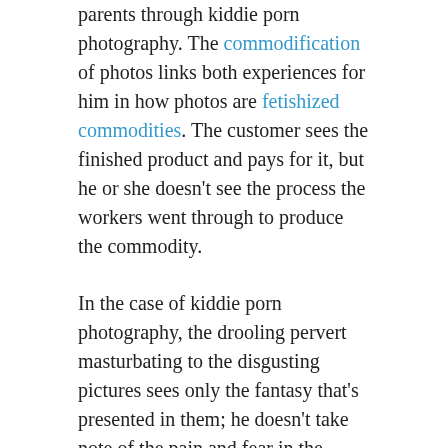parents through kiddie porn photography. The commodification of photos links both experiences for him in how photos are fetishized commodities. The customer sees the finished product and pays for it, but he or she doesn't see the process the workers went through to produce the commodity.
In the case of kiddie porn photography, the drooling pervert masturbating to the disgusting pictures sees only the fantasy that's presented in them; he doesn't take note of the pain and fear in the naked children's eyes as they're forced into doing the shameful things they do in front of the camera. Similarly, and in reverse fashion, though Sy is the seller, not the buyer, he sees only the happiness of the Yorkins in their photos; but he knows nothing of the very real problems in their far-from-ideal